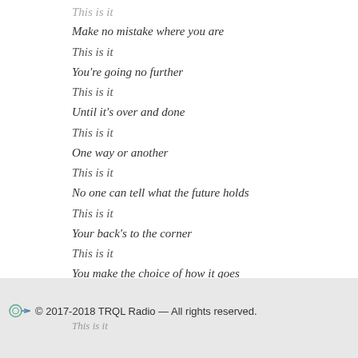This is it
Make no mistake where you are
This is it
You're going no further
This is it
Until it's over and done
This is it
One way or another
This is it
No one can tell what the future holds
This is it
Your back's to the corner
This is it
You make the choice of how it goes
This is it
The waiting is over
This is it
© 2017-2018 TRQL Radio — All rights reserved.
This is it